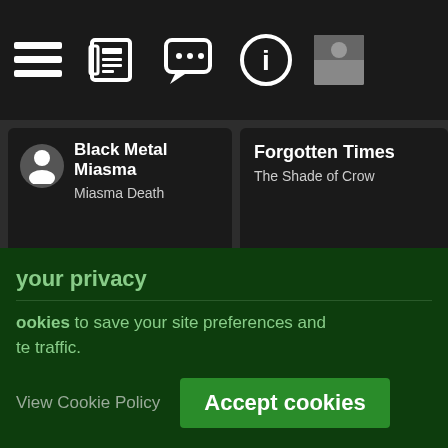Navigation bar with icons: list, newspaper, chat, info, profile image
[Figure (screenshot): Music player cards showing: Black Metal Miasma / Miasma Death, Forgotten Times / The Shade of Crow, Death Human... / Bicep...]
Support Us :: © 2011-2022 Lycanthropia.net :: Sta...
your privacy
ookies to save your site preferences and te traffic.
View Cookie Policy
Accept cookies